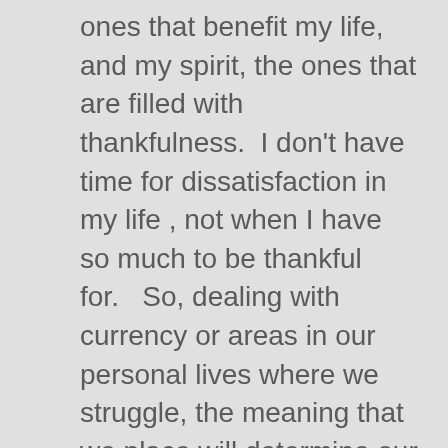ones that benefit my life, and my spirit, the ones that are filled with thankfulness.  I don't have time for dissatisfaction in my life , not when I have so much to be thankful for.   So, dealing with currency or areas in our personal lives where we struggle, the meaning that we place will determine our experience, being always left with the choice of how to respond, in thankfulness or with a tinge of want.